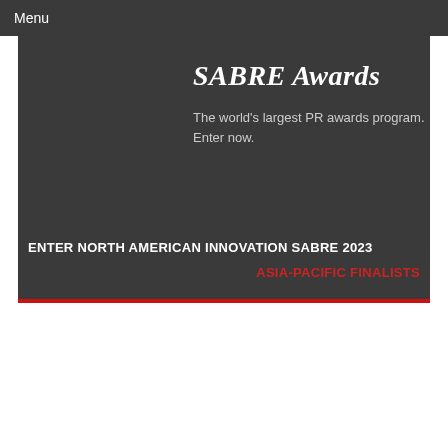Menu
SABRE Awards
The world's largest PR awards program. Enter now.
ENTER NORTH AMERICAN INNOVATION SABRE 2023
ASIA-PACIFIC FINALISTS